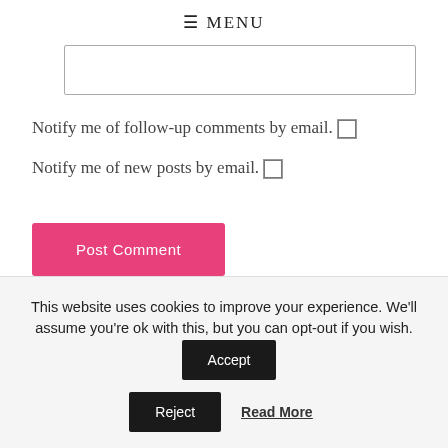≡ MENU
[Figure (other): Text input box (comment form field)]
Notify me of follow-up comments by email.
Notify me of new posts by email.
Post Comment
This website uses cookies to improve your experience. We'll assume you're ok with this, but you can opt-out if you wish.
Accept
Reject
Read More